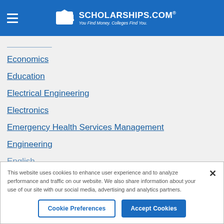[Figure (logo): Scholarships.com logo with graduation cap icon, white text on blue header background. Tagline: You Find Money. Colleges Find You.]
Economics
Education
Electrical Engineering
Electronics
Emergency Health Services Management
Engineering
English
This website uses cookies to enhance user experience and to analyze performance and traffic on our website. We also share information about your use of our site with our social media, advertising and analytics partners.